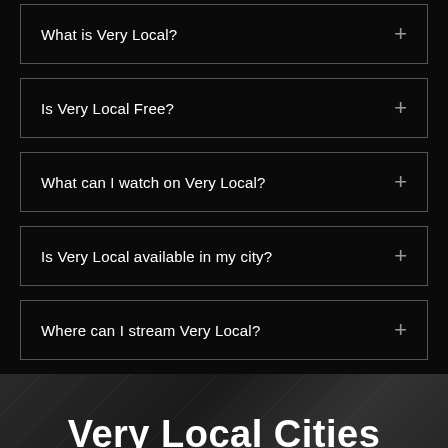What is Very Local?
Is Very Local Free?
What can I watch on Very Local?
Is Very Local available in my city?
Where can I stream Very Local?
Very Local Cities